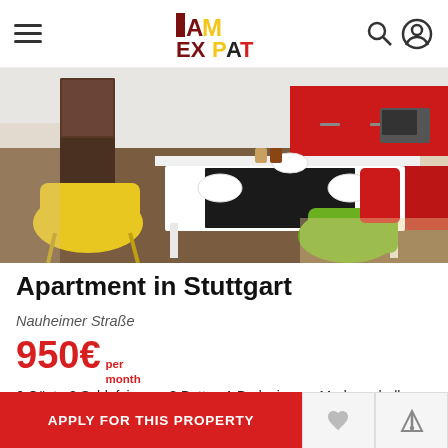I AM EXPAT
[Figure (photo): Interior photo of a modern apartment showing a dining table with yellow and green chairs and a red kitchen in the background]
Apartment in Stuttgart
Nauheimer Straße
950€ per month
6 Gäste 2 Schlafzimmer 3 Betten 1 Badezimmer Moderne helle Wohnung im ersten Stock, kürzlich renoviert und